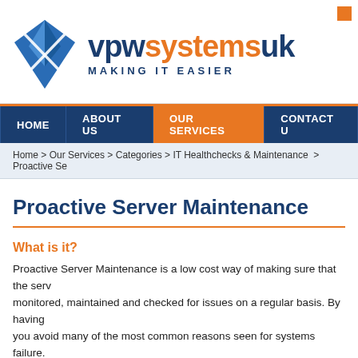[Figure (logo): VPW Systems UK logo with blue diamond/V shape icon and text 'vpwsystemsuk MAKING IT EASIER']
HOME | ABOUT US | OUR SERVICES | CONTACT U
Home > Our Services > Categories > IT Healthchecks & Maintenance > Proactive Se
Proactive Server Maintenance
What is it?
Proactive Server Maintenance is a low cost way of making sure that the serv... monitored, maintained and checked for issues on a regular basis. By having ... you avoid many of the most common reasons seen for systems failure.
Our engineers perform a range of maintenance tasks and take corrective acti... and how detailed the maintenance needs to be depending on the level of dep...